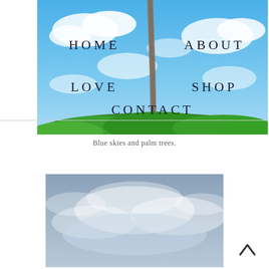[Figure (photo): Photo of a tall palm tree trunk against a bright blue sky with white clouds and green tropical foliage at the bottom. Navigation menu items HOME, ABOUT, LOVE, SHOP, CONTACT are overlaid in dark letter-spaced serif text on the image.]
Blue skies and palm trees.
[Figure (photo): Photo of a grey overcast sky with soft white clouds.]